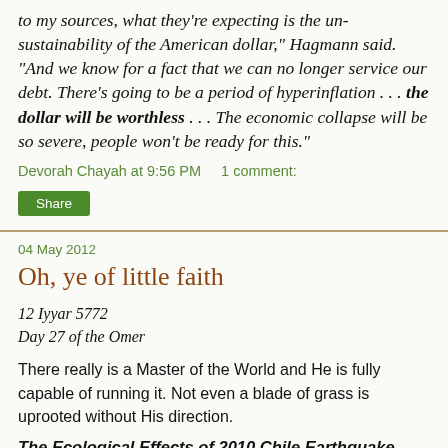to my sources, what they're expecting is the un-sustainability of the American dollar," Hagmann said. "And we know for a fact that we can no longer service our debt. There's going to be a period of hyperinflation . . . the dollar will be worthless . . . The economic collapse will be so severe, people won't be ready for this."
Devorah Chayah at 9:56 PM    1 comment:
Share
04 May 2012
Oh, ye of little faith
12 Iyyar 5772
Day 27 of the Omer
There really is a Master of the World and He is fully capable of running it. Not even a blade of grass is uprooted without His direction.
The Ecological Effects of 2010 Chile Earthquake